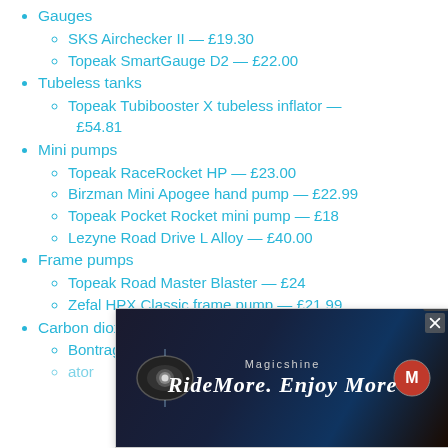Gauges
SKS Airchecker II — £19.30
Topeak SmartGauge D2 — £22.00
Tubeless tanks
Topeak Tubibooster X tubeless inflator — £54.81
Mini pumps
Topeak RaceRocket HP — £23.00
Birzman Mini Apogee hand pump — £22.99
Topeak Pocket Rocket mini pump — £18
Lezyne Road Drive L Alloy — £40.00
Frame pumps
Topeak Road Master Blaster — £24
Zefal HPX Classic frame pump — £21.99
Carbon dioxide inflators
Bontrager Air Rush Road CO2 Pump — £[...]00
[...] inflator
[Figure (photo): Magicshine advertisement banner: 'RideMore. Enjoy More' with bicycle light image and logo on dark background]